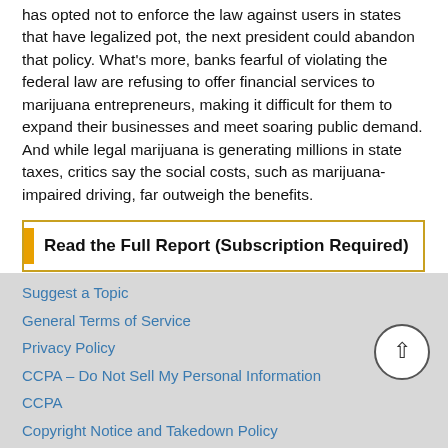has opted not to enforce the law against users in states that have legalized pot, the next president could abandon that policy. What's more, banks fearful of violating the federal law are refusing to offer financial services to marijuana entrepreneurs, making it difficult for them to expand their businesses and meet soaring public demand. And while legal marijuana is generating millions in state taxes, critics say the social costs, such as marijuana-impaired driving, far outweigh the benefits.
Read the Full Report (Subscription Required)
Suggest a Topic
General Terms of Service
Privacy Policy
CCPA – Do Not Sell My Personal Information
CCPA
Copyright Notice and Takedown Policy